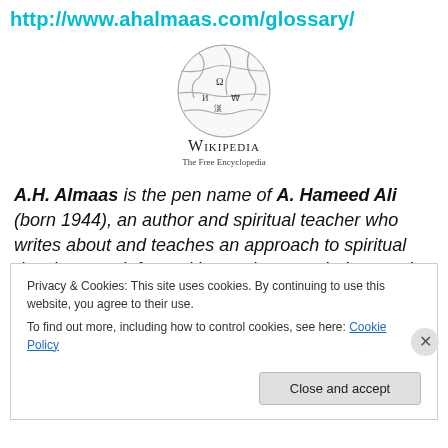http://www.ahalmaas.com/glossary/
[Figure (logo): Wikipedia globe logo with text 'WIKIPEDIA The Free Encyclopedia']
A.H. Almaas is the pen name of A. Hameed Ali (born 1944), an author and spiritual teacher who writes about and teaches an approach to spiritual development informed by modern psychology and therapy which he
Privacy & Cookies: This site uses cookies. By continuing to use this website, you agree to their use.
To find out more, including how to control cookies, see here: Cookie Policy
Close and accept